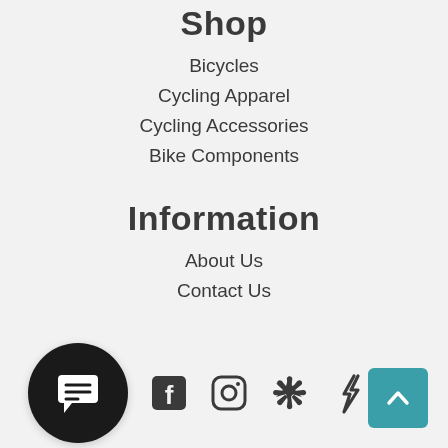Shop
Bicycles
Cycling Apparel
Cycling Accessories
Bike Components
Information
About Us
Contact Us
[Figure (illustration): Chat/message bubble icon in a black circle]
[Figure (illustration): Social media icons: Facebook, Instagram, Yelp, Strava/Athlytic]
[Figure (illustration): Teal back-to-top button with upward chevron arrow]